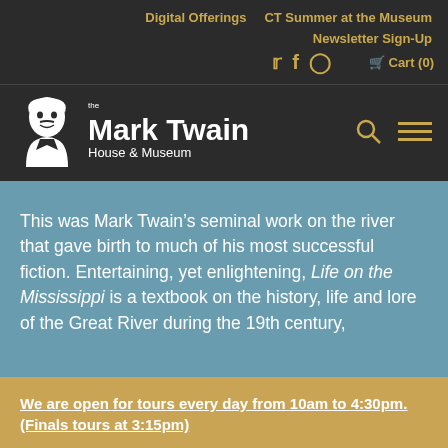Digital Offerings | CT Summer at the Museum
Newsletter Sign-Up
Twitter Facebook Instagram Cart (0)
[Figure (logo): The Mark Twain House & Museum logo with portrait illustration and text]
This was Mark Twain’s seminal work on the river that gave birth to much of his most successful fiction. Entertaining, yet enlightening, Life on the Mississippi is a textbook on the history, life and lore of the Great River during the 19th century,
We are open for tours every day from 10am to 4:30pm. (Finals tours at 3:15pm)
PRESS F5 FOR UPDATES